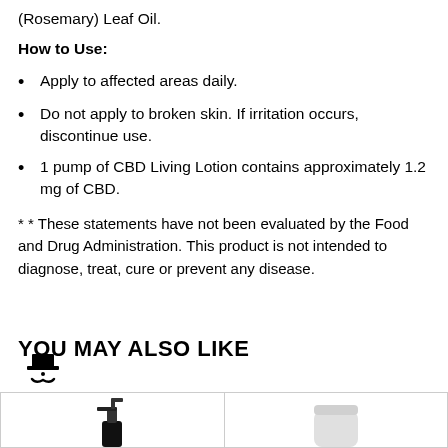(Rosemary) Leaf Oil.
How to Use:
Apply to affected areas daily.
Do not apply to broken skin. If irritation occurs, discontinue use.
1 pump of CBD Living Lotion contains approximately 1.2 mg of CBD.
* * These statements have not been evaluated by the Food and Drug Administration. This product is not intended to diagnose, treat, cure or prevent any disease.
YOU MAY ALSO LIKE
[Figure (photo): Logo icon (top hat and mustache) for CBD Living brand]
[Figure (photo): Product images in a 'You May Also Like' section showing two product bottles]